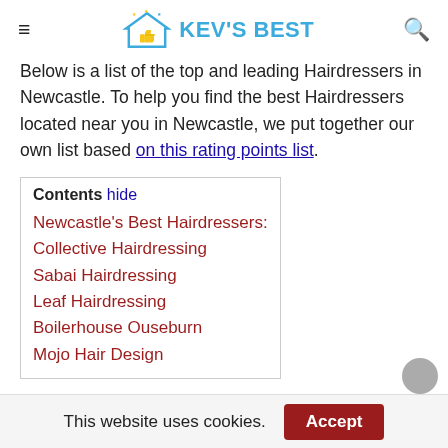KEV'S BEST
Below is a list of the top and leading Hairdressers in Newcastle. To help you find the best Hairdressers located near you in Newcastle, we put together our own list based on this rating points list.
Contents hide
Newcastle's Best Hairdressers:
Collective Hairdressing
Sabai Hairdressing
Leaf Hairdressing
Boilerhouse Ouseburn
Mojo Hair Design
This website uses cookies. Accept